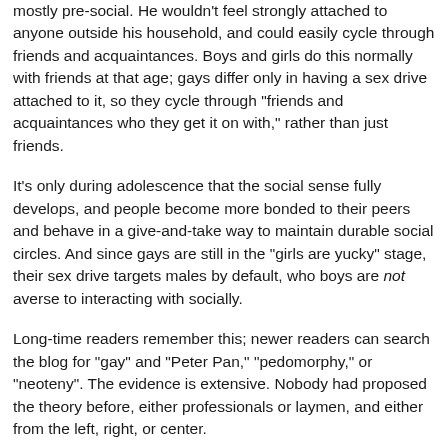mostly pre-social. He wouldn't feel strongly attached to anyone outside his household, and could easily cycle through friends and acquaintances. Boys and girls do this normally with friends at that age; gays differ only in having a sex drive attached to it, so they cycle through "friends and acquaintances who they get it on with," rather than just friends.
It's only during adolescence that the social sense fully develops, and people become more bonded to their peers and behave in a give-and-take way to maintain durable social circles. And since gays are still in the "girls are yucky" stage, their sex drive targets males by default, who boys are not averse to interacting with socially.
Long-time readers remember this; newer readers can search the blog for "gay" and "Peter Pan," "pedomorphy," or "neoteny". The evidence is extensive. Nobody had proposed the theory before, either professionals or laymen, and either from the left, right, or center.
* * *